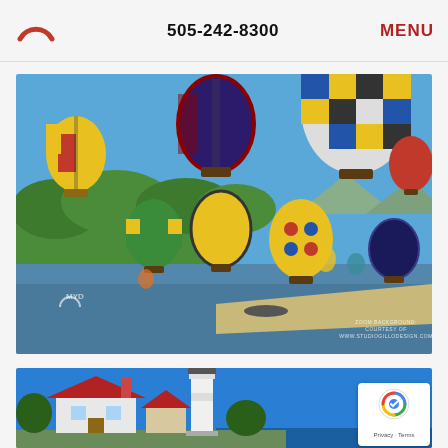505-242-8300  MENU
[Figure (photo): Hot air balloons floating over a river with green trees, colorful balloons in blue sky. Zoom background courtesy of www.studiogillodesign.com]
[Figure (photo): Lighthouse with red roof building and blue sky, partial view at bottom of page]